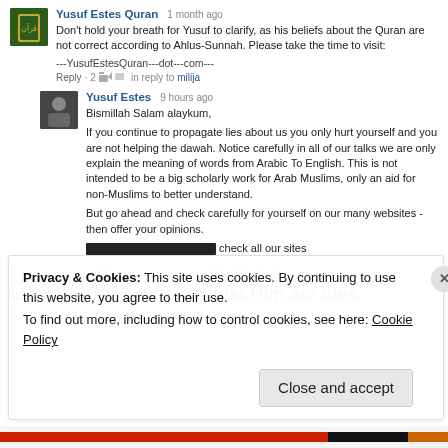Yusuf Estes Quran · 1 month ago
Don't hold your breath for Yusuf to clarify, as his beliefs about the Quran are not correct according to Ahlus-Sunnah. Please take the time to visit:
---YusufEstesQuran---dot---com---
Reply · 2 · in reply to milija
Yusuf Estes · 9 hours ago
Bismillah Salam alaykum,
If you continue to propagate lies about us you only hurt yourself and you are not helping the dawah. Notice carefully in all of our talks we are only explain the meaning of words from Arabic To English. This is not intended to be a big scholarly work for Arab Muslims, only an aid for non-Muslims to better understand.
But go ahead and check carefully for yourself on our many websites - then offer your opinions.
[redacted] check all our sites
Reply · in reply to Yusuf Estes Quran
LIE #1 – The Points Against Him are Lies
Privacy & Cookies: This site uses cookies. By continuing to use this website, you agree to their use.
To find out more, including how to control cookies, see here: Cookie Policy
Close and accept